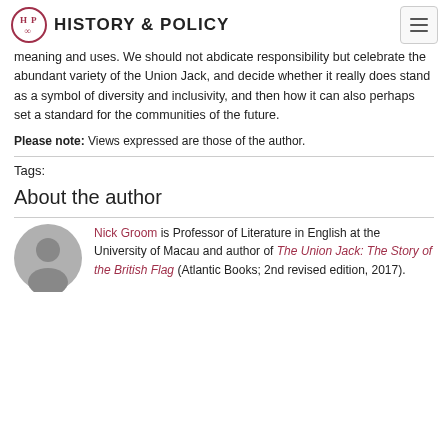HISTORY & POLICY
meaning and uses. We should not abdicate responsibility but celebrate the abundant variety of the Union Jack, and decide whether it really does stand as a symbol of diversity and inclusivity, and then how it can also perhaps set a standard for the communities of the future.
Please note: Views expressed are those of the author.
Tags:
About the author
Nick Groom is Professor of Literature in English at the University of Macau and author of The Union Jack: The Story of the British Flag (Atlantic Books; 2nd revised edition, 2017).